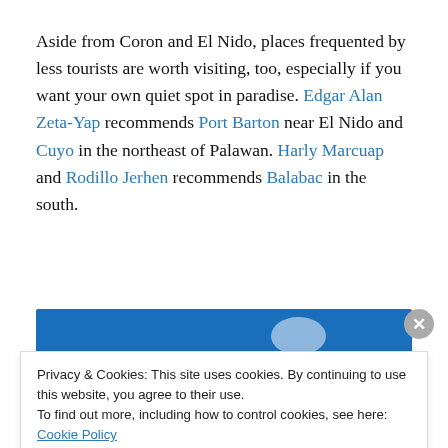Aside from Coron and El Nido, places frequented by less tourists are worth visiting, too, especially if you want your own quiet spot in paradise. Edgar Alan Zeta-Yap recommends Port Barton near El Nido and Cuyo in the northeast of Palawan. Harly Marcuap and Rodillo Jerhen recommends Balabac in the south.
[Figure (photo): Partial view of a blue sky photo, partially obscured by a cookie consent banner]
Privacy & Cookies: This site uses cookies. By continuing to use this website, you agree to their use.
To find out more, including how to control cookies, see here: Cookie Policy
Close and accept